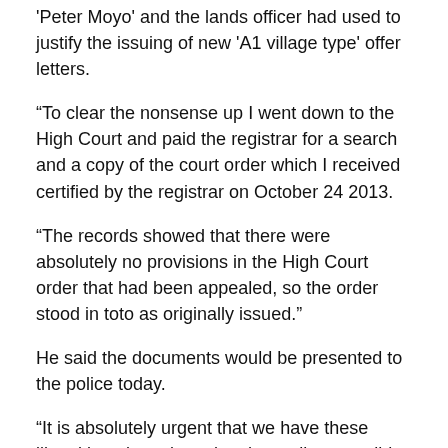'Peter Moyo' and the lands officer had used to justify the issuing of new 'A1 village type' offer letters.
“To clear the nonsense up I went down to the High Court and paid the registrar for a search and a copy of the court order which I received certified by the registrar on October 24 2013.
“The records showed that there were absolutely no provisions in the High Court order that had been appealed, so the order stood in toto as originally issued.”
He said the documents would be presented to the police today.
“It is absolutely urgent that we have these illegal invaders ejected at the earliest possible (time) as they are on a looting rampage and slaughtering the wildlife.